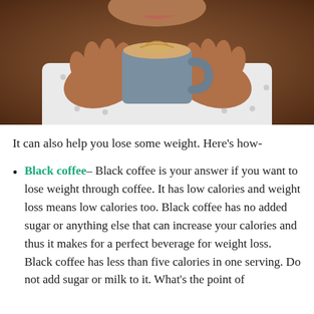[Figure (photo): Person holding a grey coffee cup with latte art, wearing a white polka-dot shirt, photographed from the neck down against a warm brown background.]
It can also help you lose some weight. Here's how-
Black coffee– Black coffee is your answer if you want to lose weight through coffee. It has low calories and weight loss means low calories too. Black coffee has no added sugar or anything else that can increase your calories and thus it makes for a perfect beverage for weight loss. Black coffee has less than five calories in one serving. Do not add sugar or milk to it. What's the point of